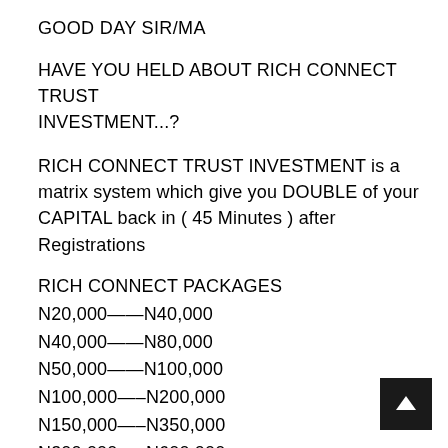GOOD DAY SIR/MA
HAVE YOU HELD ABOUT RICH CONNECT TRUST INVESTMENT...?
RICH CONNECT TRUST INVESTMENT is a matrix system which give you DOUBLE of your CAPITAL back in ( 45 Minutes ) after Registrations
RICH CONNECT PACKAGES
N20,000——N40,000
N40,000——N80,000
N50,000——N100,000
N100,000—–N200,000
N150,000—–N350,000
N300,000—–N600,000
N200,000—–N400,000
N400,000——N800,000